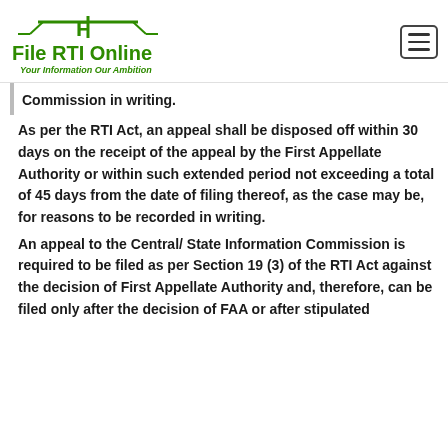File RTI Online — Your Information Our Ambition
Commission in writing.
As per the RTI Act, an appeal shall be disposed off within 30 days on the receipt of the appeal by the First Appellate Authority or within such extended period not exceeding a total of 45 days from the date of filing thereof, as the case may be, for reasons to be recorded in writing.
An appeal to the Central/ State Information Commission is required to be filed as per Section 19 (3) of the RTI Act against the decision of First Appellate Authority and, therefore, can be filed only after the decision of FAA or after stipulated